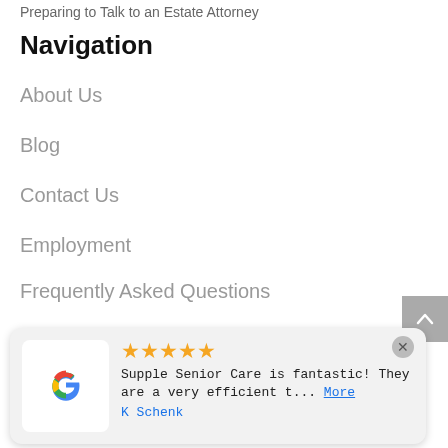Preparing to Talk to an Estate Attorney
Navigation
About Us
Blog
Contact Us
Employment
Frequently Asked Questions
Home
Home Care Services
[Figure (other): Google review card with 5 gold stars, Google logo, review text 'Supple Senior Care is fantastic! They are a very efficient t... More', reviewer name 'K Schenk']